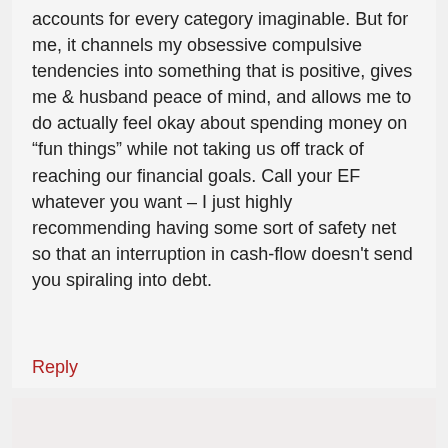accounts for every category imaginable. But for me, it channels my obsessive compulsive tendencies into something that is positive, gives me & husband peace of mind, and allows me to do actually feel okay about spending money on “fun things” while not taking us off track of reaching our financial goals. Call your EF whatever you want – I just highly recommending having some sort of safety net so that an interruption in cash-flow doesn't send you spiraling into debt.
Reply